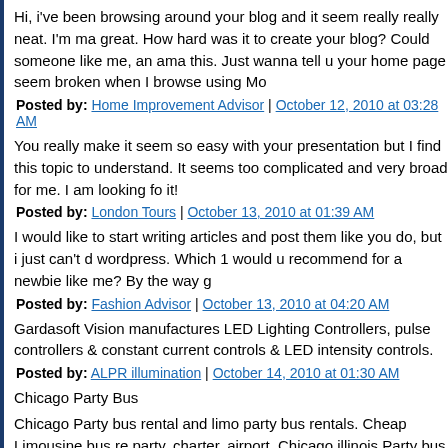Hi, i've been browsing around your blog and it seem really really neat. I'm ma great. How hard was it to create your blog? Could someone like me, an ama this. Just wanna tell u your home page seem broken when I browse using Mo
Posted by: Home Improvement Advisor | October 12, 2010 at 03:28 AM
You really make it seem so easy with your presentation but I find this topic to understand. It seems too complicated and very broad for me. I am looking fo it!
Posted by: London Tours | October 13, 2010 at 01:39 AM
I would like to start writing articles and post them like you do, but i just can't d wordpress. Which 1 would u recommend for a newbie like me? By the way g
Posted by: Fashion Advisor | October 13, 2010 at 04:20 AM
Gardasoft Vision manufactures LED Lighting Controllers, pulse controllers & constant current controls & LED intensity controls.
Posted by: ALPR illumination | October 14, 2010 at 01:30 AM
Chicago Party Bus
Chicago Party bus rental and limo party bus rentals. Cheap Limousine bus re party, charter, airport. Chicago illinois Party bus rent services company.
Posted by: gaurav | October 14, 2010 at 01:48 AM
i know i'm a little off topic, but i just wanted to say i love the layout of your blo suggestions on getting my blog looking nice would be appreciated.